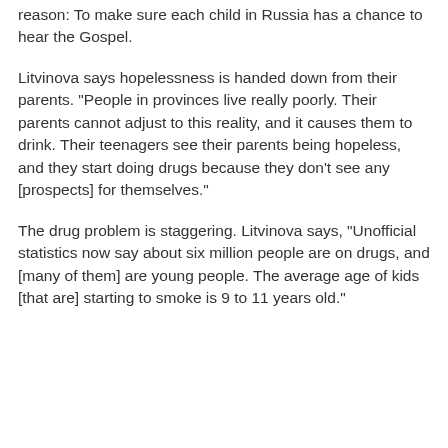reason: To make sure each child in Russia has a chance to hear the Gospel.
Litvinova says hopelessness is handed down from their parents. "People in provinces live really poorly. Their parents cannot adjust to this reality, and it causes them to drink. Their teenagers see their parents being hopeless, and they start doing drugs because they don't see any [prospects] for themselves."
The drug problem is staggering. Litvinova says, "Unofficial statistics now say about six million people are on drugs, and [many of them] are young people. The average age of kids [that are] starting to smoke is 9 to 11 years old."